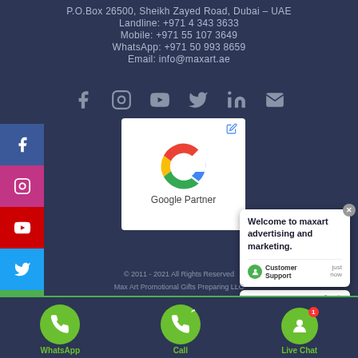P.O.Box 26500, Sheikh Zayed Road, Dubai - UAE
Landline: +971 4 343 3633
Mobile: +971 55 107 3649
WhatsApp: +971 50 993 8659
Email: info@maxart.ae
[Figure (infographic): Social media icons row: Facebook, Instagram, YouTube, Twitter, LinkedIn, Email]
[Figure (infographic): Left sidebar with social media buttons: Facebook (blue), Instagram (pink), YouTube (red), Twitter (light blue), Email (green)]
[Figure (logo): Google Partner badge card with Google G logo and text 'Google Partner']
[Figure (screenshot): Chat widget showing welcome message 'Welcome to maxart advertising and marketing.' with Customer Support agent and Type input bar]
© 2011 - 2021 All Rights Reserved
Max Art Promotional Gifts Preparing LLC
[Figure (infographic): Bottom action bar with WhatsApp, Call, and Live Chat circular green buttons]